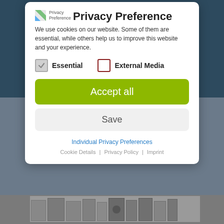Privacy Preference
We use cookies on our website. Some of them are essential, while others help us to improve this website and your experience.
Essential (checked)
External Media (unchecked)
Accept all
Save
Individual Privacy Preferences
Cookie Details | Privacy Policy | Imprint
[Figure (screenshot): Book shelf image visible at the bottom of the page behind the modal dialog]